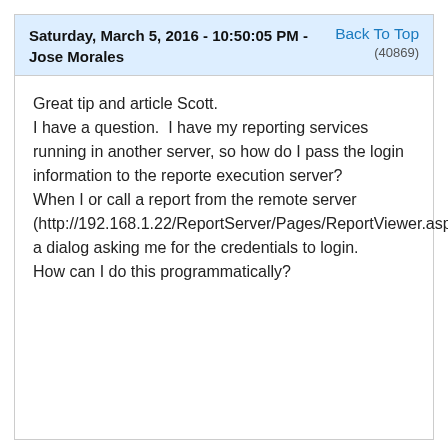Saturday, March 5, 2016 - 10:50:05 PM - Jose Morales    Back To Top (40869)
Great tip and article Scott.
I have a question.  I have my reporting services running in another server, so how do I pass the login information to the reporte execution server?
When I or call a report from the remote server (http://192.168.1.22/ReportServer/Pages/ReportViewer.asp%2fWinPOS%2frptSample&rs:Command=Render) a dialog asking me for the credentials to login.
How can I do this programmatically?